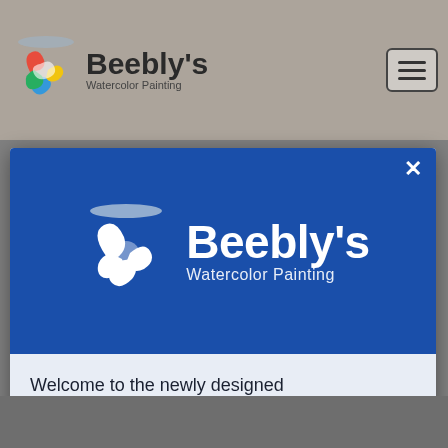[Figure (logo): Beebly's Watercolor Painting logo in navigation bar - colorful circular icon with brand name]
[Figure (logo): Beebly's Watercolor Painting large white logo on blue modal header background with paintbrush]
Welcome to the newly designed WaterColorPainting.com. We have rebranded to Beebly’s Watercolor Painting but have kept all of the Blog Posts and Courses you’ve enjoyed over the years. We’ve also got tons of new features you’ll love and new content on the way.